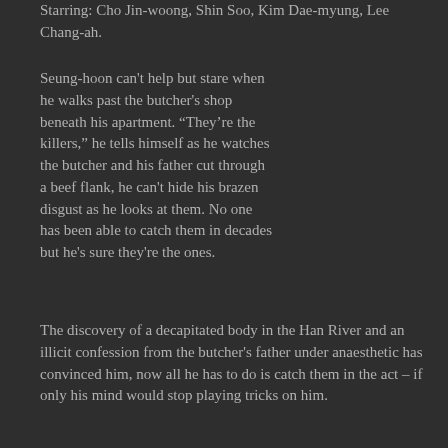Starring: Cho Jin-woong, Shin Soo, Kim Dae-myung, Lee Chang-ah.
Seung-hoon can't help but stare when he walks past the butcher's shop beneath his apartment. “They’re the killers,” he tells himself as he watches the butcher and his father cut through a beef flank, he can't hide his brazen disgust as he looks at them. No one has been able to catch them in decades but he's sure they're the ones.
The discovery of a decapitated body in the Han River and an illicit confession from the butcher's father under anaesthetic has convinced him, now all he has to do is catch them in the act – if only his mind would stop playing tricks on him.